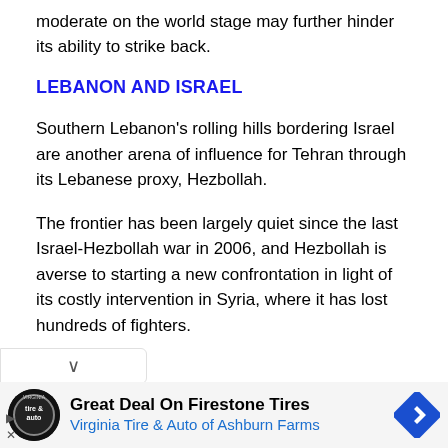moderate on the world stage may further hinder its ability to strike back.
LEBANON AND ISRAEL
Southern Lebanon's rolling hills bordering Israel are another arena of influence for Tehran through its Lebanese proxy, Hezbollah.
The frontier has been largely quiet since the last Israel-Hezbollah war in 2006, and Hezbollah is averse to starting a new confrontation in light of its costly intervention in Syria, where it has lost hundreds of fighters.
[Figure (other): Advertisement: Great Deal On Firestone Tires - Virginia Tire & Auto of Ashburn Farms]